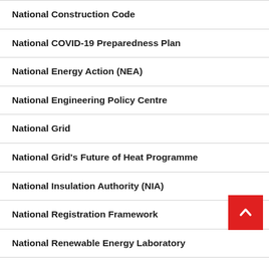National Construction Code
National COVID-19 Preparedness Plan
National Energy Action (NEA)
National Engineering Policy Centre
National Grid
National Grid's Future of Heat Programme
National Insulation Authority (NIA)
National Registration Framework
National Renewable Energy Laboratory